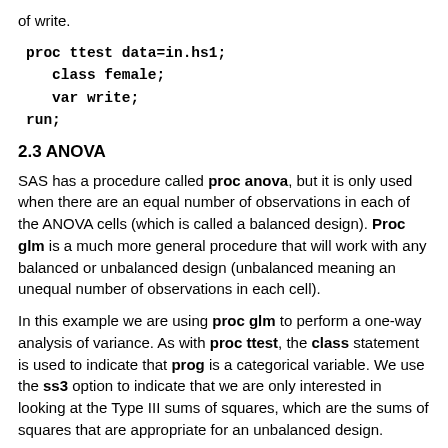of write.
2.3 ANOVA
SAS has a procedure called proc anova, but it is only used when there are an equal number of observations in each of the ANOVA cells (which is called a balanced design). Proc glm is a much more general procedure that will work with any balanced or unbalanced design (unbalanced meaning an unequal number of observations in each cell).
In this example we are using proc glm to perform a one-way analysis of variance. As with proc ttest, the class statement is used to indicate that prog is a categorical variable. We use the ss3 option to indicate that we are only interested in looking at the Type III sums of squares, which are the sums of squares that are appropriate for an unbalanced design.